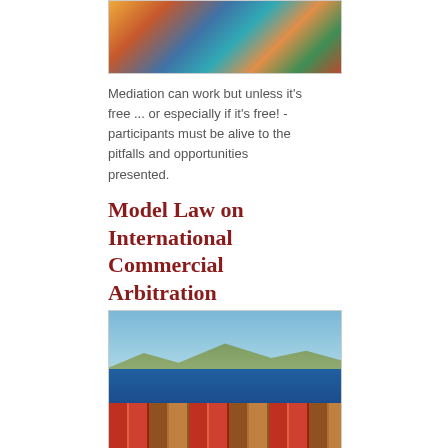[Figure (illustration): Colorful abstract/artistic image at the top of the page, partially cropped]
Mediation can work but unless it's free ... or especially if it's free! - participants must be alive to the pitfalls and opportunities presented.
Model Law on International Commercial Arbitration (UNCITRAL)
[Figure (photo): Photo of a harbor/port scene with blue ocean water, mountains in the background, and colorful shipping containers stacked in the foreground]